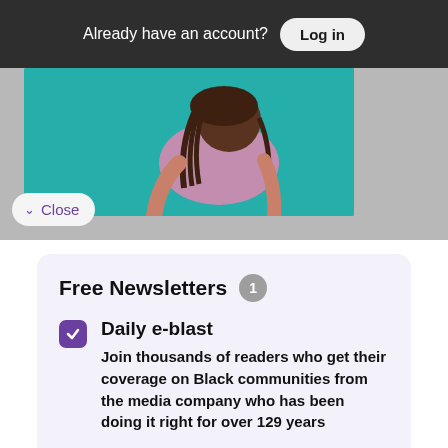Already have an account?
Log in
[Figure (photo): Photo of a person with braided hair bending over, against a teal/green background. A 'Close' button is overlaid on the bottom-left.]
Free Newsletters 1
Daily e-blast
Join thousands of readers who get their coverage on Black communities from the media company who has been doing it right for over 129 years
Show more